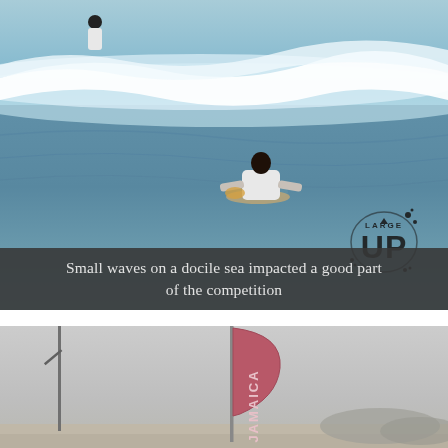[Figure (photo): Ocean surfing scene. A person in a white shirt is paddling on a surfboard through choppy sea water with small waves breaking in the background. Another surfer is visible in the distant background. A watermark logo reading 'LARGE UP' with splatter design is in the lower right of the image.]
Small waves on a docile sea impacted a good part of the competition
[Figure (photo): Beach event scene showing a Jamaica-branded pink/red flag banner on a pole, another pole to the left, with an overcast gray sky background and sandy ground visible.]